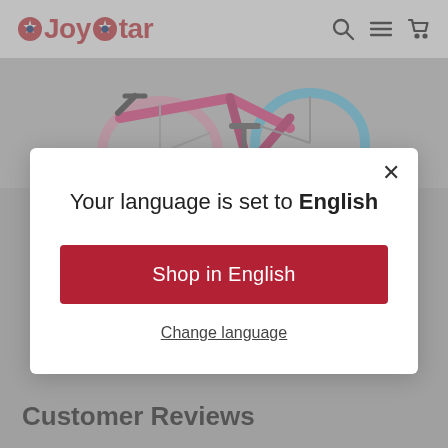[Figure (logo): JoyStar brand logo with red text and star icon]
[Figure (photo): Close-up of pink and blue bicycle frames]
Your language is set to English
Shop in English
Change language
Customer Reviews